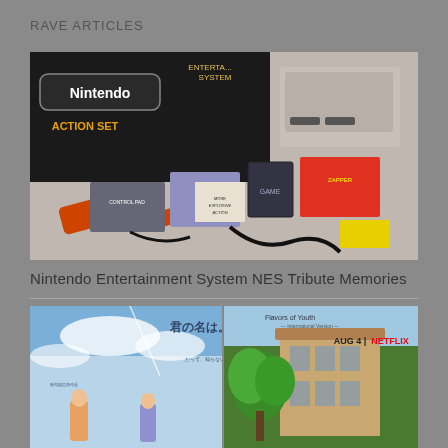RAVE ARTICLES
[Figure (photo): Nintendo Entertainment System Action Set box with NES console, Zapper gun, cartridges, manuals, and accessories spread out on a surface]
Nintendo Entertainment System NES Tribute Memories
[Figure (photo): Two anime movie posters side by side: 'Kimi no Na wa' (Your Name) Japanese poster on the left showing two characters under a blue sky, and 'Flavors of Youth International Version' Netflix poster on the right showing an animated building with trees, releasing AUG 4 on NETFLIX]